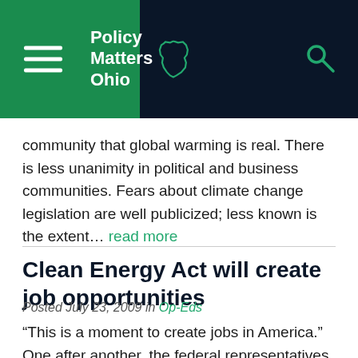Policy Matters Ohio
community that global warming is real. There is less unanimity in political and business communities. Fears about climate change legislation are well publicized; less known is the extent... read more
Clean Energy Act will create job opportunities
Posted July 23, 2009 in Op-Eds
“This is a moment to create jobs in America.” One after another, the federal representatives spoke about climate change from the floor of the